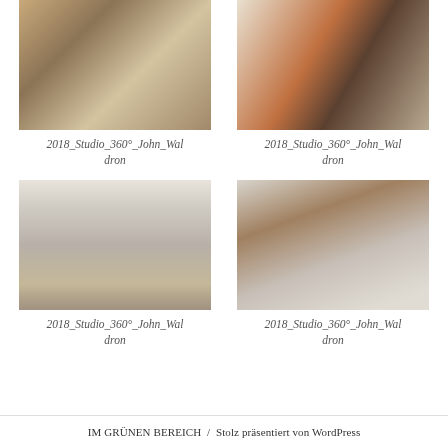[Figure (photo): 360 degree interior photo showing construction/renovation area with wooden beams]
2018_Studio_360°_John_Waldron
[Figure (photo): 360 degree fisheye/globe view of interior with colorful objects]
2018_Studio_360°_John_Waldron
[Figure (photo): 360 degree panoramic photo of interior hallway/corridor under renovation]
2018_Studio_360°_John_Waldron
[Figure (photo): 360 degree panoramic photo of interior room with wooden arched door]
2018_Studio_360°_John_Waldron
IM GRÜNEN BEREICH  /  Stolz präsentiert von WordPress